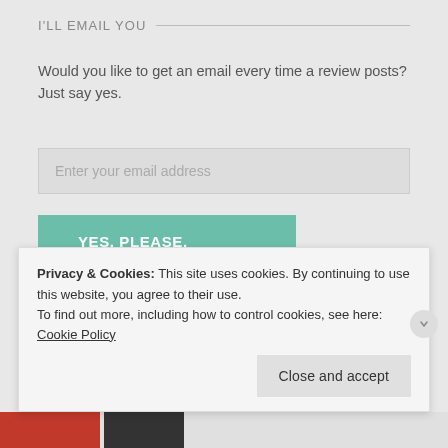I'LL EMAIL YOU
Would you like to get an email every time a review posts? Just say yes.
Enter your email address
YES, PLEASE.
Join 199 other followers
TALK TO ME
Privacy & Cookies: This site uses cookies. By continuing to use this website, you agree to their use.
To find out more, including how to control cookies, see here: Cookie Policy
Close and accept